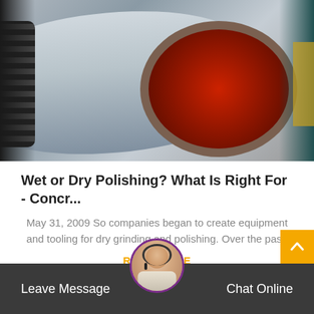[Figure (photo): Industrial ball mill drum with red interior and gear teeth on the left side, shown in a factory/warehouse setting.]
Wet or Dry Polishing? What Is Right For - Concr...
May 31, 2009 So companies began to create equipment and tooling for dry grinding and polishing. Over the pas..
READ MORE
Leave Message   Chat Online